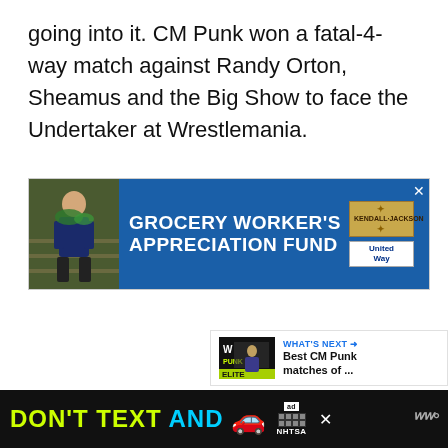going into it. CM Punk won a fatal-4-way match against Randy Orton, Sheamus and the Big Show to face the Undertaker at Wrestlemania.
[Figure (screenshot): Advertisement banner for Grocery Worker's Appreciation Fund featuring Kendall Jackson and United Way logos on a blue background with a photo of a grocery worker.]
[Figure (infographic): Floating action buttons: a blue heart/like button and a grey share button on the right side of the page.]
[Figure (screenshot): What's Next card showing 'Best CM Punk matches of ...' with a thumbnail image.]
[Figure (screenshot): Bottom advertisement: 'DON'T TEXT AND' with a car emoji, ad label, NHTSA branding on black background.]